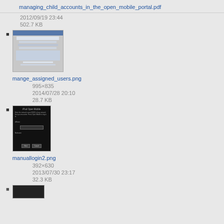managing_child_accounts_in_the_open_mobile_portal.pdf
2012/09/19 23:44
502.7 KB
[Figure (screenshot): Thumbnail screenshot of managing_child_accounts PDF showing a web interface table]
mange_assigned_users.png
995×835
2014/07/28 20:10
28.7 KB
[Figure (screenshot): Thumbnail of manuallogin2.png showing a dark mobile screen with iPod Open Mobile login dialog]
manuallogin2.png
392×630
2013/07/30 23:17
32.3 KB
[Figure (screenshot): Partial thumbnail of another image at bottom of page]